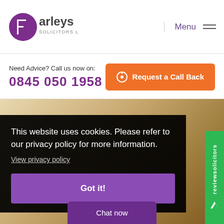Farleys Solicitors LLP — Menu
Need Advice? Call us now on: 0845 050 1958
Request a Call Back
[Figure (screenshot): Background image of people outdoors with warm tones]
This website uses cookies. Please refer to our privacy policy for more information. View privacy policy
Got it!
[Figure (logo): reviewsolicitors green sidebar badge]
Chat now